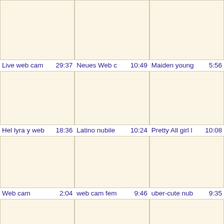[Figure (other): Video thumbnail placeholder 1]
[Figure (other): Video thumbnail placeholder 2]
[Figure (other): Video thumbnail placeholder 3]
Live web cam  29:37
Neues Web c  10:49
Maiden young  5:56
[Figure (other): Video thumbnail placeholder 4]
[Figure (other): Video thumbnail placeholder 5]
[Figure (other): Video thumbnail placeholder 6]
Hel lyra y web  18:36
Latino nubile  10:24
Pretty All girl l  10:08
[Figure (other): Video thumbnail placeholder 7]
[Figure (other): Video thumbnail placeholder 8]
[Figure (other): Video thumbnail placeholder 9]
Web cam  2:04
web cam fem  9:46
uber-cute nub  9:35
[Figure (other): Video thumbnail placeholder 10]
[Figure (other): Video thumbnail placeholder 11]
[Figure (other): Video thumbnail placeholder 12]